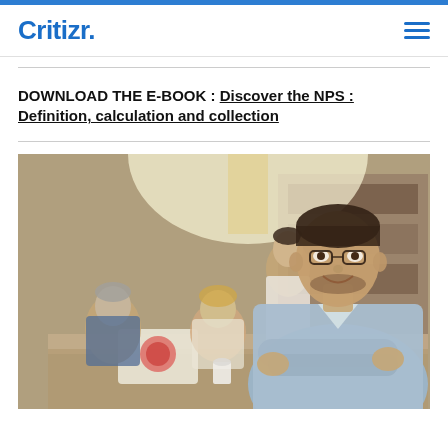Critizr.
DOWNLOAD THE E-BOOK : Discover the NPS : Definition, calculation and collection
[Figure (photo): Office team photo: a smiling man with glasses and crossed arms in foreground wearing a light blue shirt, with colleagues working at a table in the background in a modern office setting]